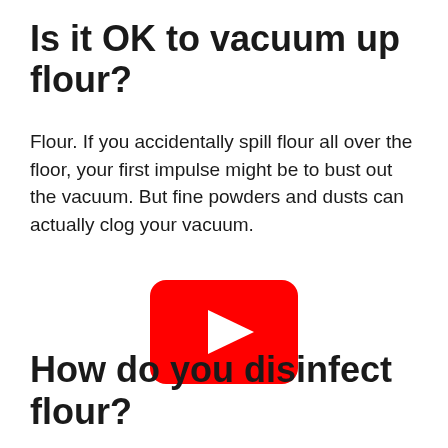Is it OK to vacuum up flour?
Flour. If you accidentally spill flour all over the floor, your first impulse might be to bust out the vacuum. But fine powders and dusts can actually clog your vacuum.
[Figure (other): YouTube video player embed showing red play button on white background]
How do you disinfect flour?